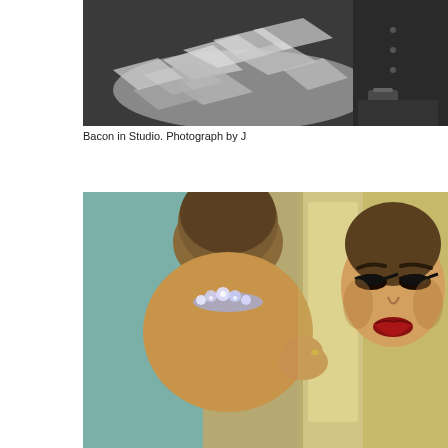[Figure (photo): Black and white photograph of Bacon in Studio, showing a person seated among scattered papers and debris. Photograph cropped at right edge, credited to J (name cut off).]
Bacon in Studio. Photograph by J
[Figure (photo): Color photograph of a person with a shaved head wearing heavy eye makeup and red lipstick, viewed in a mirror reflection. The person is wearing a rhinestone/crystal necklace at the back of the neck. The reflection shows the face with dramatic makeup. Room background with teal/green walls visible.]